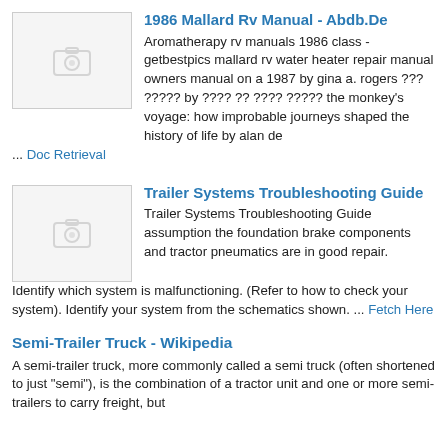1986 Mallard Rv Manual - Abdb.De
Aromatherapy rv manuals 1986 class - getbestpics mallard rv water heater repair manual owners manual on a 1987 by gina a. rogers ??? ????? by ???? ?? ???? ????? the monkey's voyage: how improbable journeys shaped the history of life by alan de ... Doc Retrieval
Trailer Systems Troubleshooting Guide
Trailer Systems Troubleshooting Guide assumption the foundation brake components and tractor pneumatics are in good repair. Identify which system is malfunctioning. (Refer to how to check your system). Identify your system from the schematics shown. ... Fetch Here
Semi-Trailer Truck - Wikipedia
A semi-trailer truck, more commonly called a semi truck (often shortened to just "semi"), is the combination of a tractor unit and one or more semi-trailers to carry freight, but